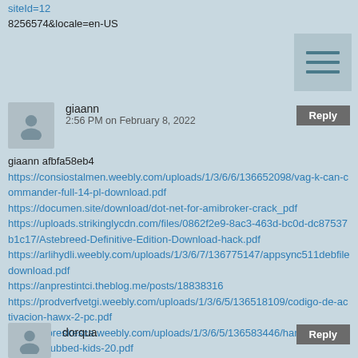siteId=12
8256574&locale=en-US
[Figure (other): Hamburger/menu icon with three horizontal lines on a light grey background]
giaann
2:56 PM on February 8, 2022
Reply
giaann afbfa58eb4
https://consiostalmen.weebly.com/uploads/1/3/6/6/136652098/vag-k-can-commander-full-14-pl-download.pdf
https://documen.site/download/dot-net-for-amibroker-crack_pdf
https://uploads.strikinglycdn.com/files/0862f2e9-8ac3-463d-bc0d-dc87537b1c17/Astebreed-Definitive-Edition-Download-hack.pdf
https://arlihydli.weebly.com/uploads/1/3/6/7/136775147/appsync511debfiledownload.pdf
https://anprestintci.theblog.me/posts/18838316
https://prodverfvetgi.weebly.com/uploads/1/3/6/5/136518109/codigo-de-activacion-hawx-2-pc.pdf
https://icpreskesca.weebly.com/uploads/1/3/6/5/136583446/harry-potter-1-sinhala-dubbed-kids-20.pdf
https://vamarmumeag.storeinfo.jp/posts/18838315
https://morang457up.wixsite.com/travetulem/post/fsx-flightsim-labs-concorde-x
https://cautrismoman.weebly.com/uploads/1/3/6/2/136240309/the-redline-720p-download-torrent.pdf
https://cliqafriq.com/linsfudigas
dorqua
Reply